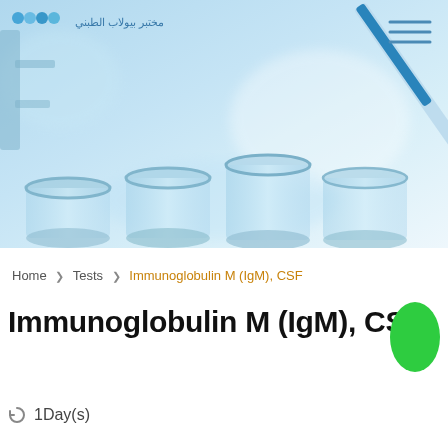[Figure (photo): Laboratory photo showing test tubes/vials and a blue pipette/dropper dispensing liquid, with a cool blue-tinted color scheme. Arabic text logo and hamburger menu in top corners.]
Home > Tests > Immunoglobulin M (IgM), CSF
Immunoglobulin M (IgM), CSF
1Day(s)